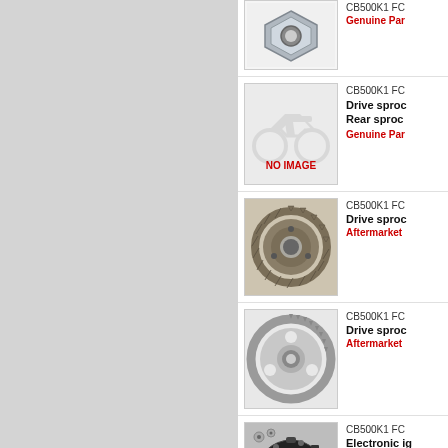[Figure (photo): Partial view of a nut/bolt hardware part on white background]
Genuine Part
[Figure (photo): No image placeholder with motorcycle silhouette watermark]
CB500K1 FO
Drive sprock
Rear sprock
Genuine Part
[Figure (photo): Front sprocket gear with teeth, metallic grey]
CB500K1 FO
Drive sproc
Aftermarket
[Figure (photo): Rear sprocket gear ring, metallic silver]
CB500K1 FO
Drive sproc
Aftermarket
[Figure (photo): Electronic ignition kit with black ring and small parts]
CB500K1 FO
Electronic ig
Aftermarket
[Figure (photo): Partial view of another part at bottom of page]
CB500K1 FO